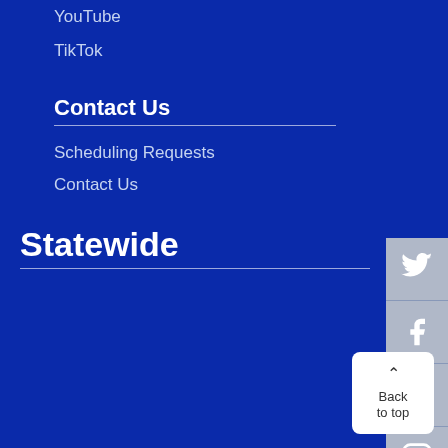YouTube
TikTok
Contact Us
Scheduling Requests
Contact Us
Statewide
[Figure (illustration): Social media sidebar icons: Twitter, Facebook, YouTube, Instagram, Snapchat]
Back to top